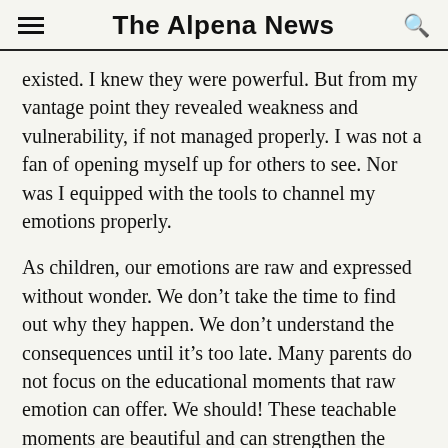The Alpena News
existed. I knew they were powerful. But from my vantage point they revealed weakness and vulnerability, if not managed properly. I was not a fan of opening myself up for others to see. Nor was I equipped with the tools to channel my emotions properly.
As children, our emotions are raw and expressed without wonder. We don’t take the time to find out why they happen. We don’t understand the consequences until it’s too late. Many parents do not focus on the educational moments that raw emotion can offer. We should! These teachable moments are beautiful and can strengthen the bond between parent and child. As I matter of fact, I learned so much about